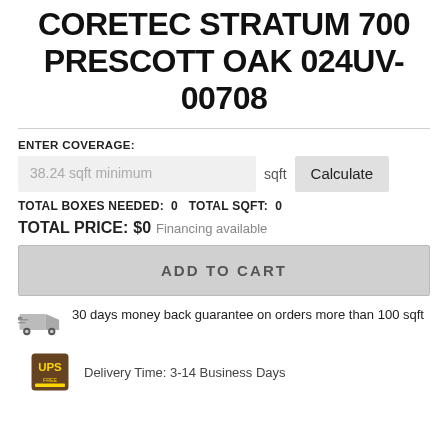CORETEC STRATUM 700 PRESCOTT OAK 024UV-00708
ENTER COVERAGE:
38.24 sqft minimum  sqft  Calculate
TOTAL BOXES NEEDED:  0  TOTAL SQFT:  0
TOTAL PRICE:  $0  Financing available
ADD TO CART
30 days money back guarantee on orders more than 100 sqft
Delivery Time: 3-14 Business Days